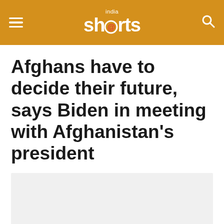india shorts
Afghans have to decide their future, says Biden in meeting with Afghanistan's president
[Figure (photo): Light gray placeholder image area below the article title]